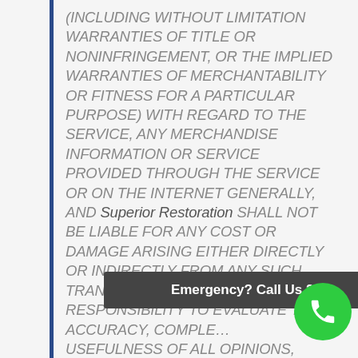(INCLUDING WITHOUT LIMITATION WARRANTIES OF TITLE OR NONINFRINGEMENT, OR THE IMPLIED WARRANTIES OF MERCHANTABILITY OR FITNESS FOR A PARTICULAR PURPOSE) WITH REGARD TO THE SERVICE, ANY MERCHANDISE INFORMATION OR SERVICE PROVIDED THROUGH THE SERVICE OR ON THE INTERNET GENERALLY, AND Superior Restoration SHALL NOT BE LIABLE FOR ANY COST OR DAMAGE ARISING EITHER DIRECTLY OR INDIRECTLY FROM ANY SUCH TRANSACTION. IT IS SOLELY YOUR RESPONSIBILITY TO EVALUATE THE ACCURACY, COMPLETENESS OR USEFULNESS OF ALL OPINIONS, ADVICE,
Emergency? Call Us 24/7